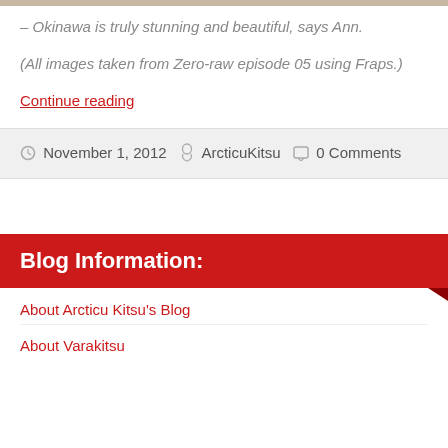[Figure (photo): Top image bar - muted tan/beige strip at top of page]
– Okinawa is truly stunning and beautiful, says Ann.
(All images taken from Zero-raw episode 05 using Fraps.)
Continue reading
November 1, 2012  ArcticuKitsu  0 Comments
Blog Information:
About Arcticu Kitsu's Blog
About Varakitsu